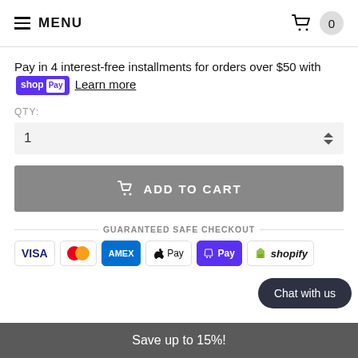MENU  0
Pay in 4 interest-free installments for orders over $50 with shop Pay  Learn more
QTY:
1
ADD TO CART
GUARANTEED SAFE CHECKOUT
[Figure (infographic): Payment method icons: VISA, Mastercard, AMEX, Apple Pay, Shop Pay, Shopify]
Chat with us
Save up to 15%!